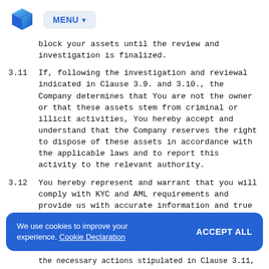MENU
block your assets until the review and investigation is finalized.
3.11  If, following the investigation and reviewal indicated in Clause 3.9. and 3.10., the Company determines that You are not the owner or that these assets stem from criminal or illicit activities, You hereby accept and understand that the Company reserves the right to dispose of these assets in accordance with the applicable laws and to report this activity to the relevant authority.
3.12  You hereby represent and warrant that you will comply with KYC and AML requirements and provide us with accurate information and true documents only and that the information provided is correct and accurate.
the necessary actions stipulated in Clause 3.11,